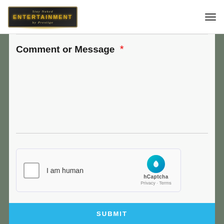[Figure (logo): Stay Naked Entertainment by Prestige logo — gold metallic text on dark background with ornate border]
Comment or Message *
[Figure (other): hCaptcha widget with checkbox labeled 'I am human' and hCaptcha branding with Privacy and Terms links]
[Figure (other): Blue SUBMIT button strip at bottom of page]